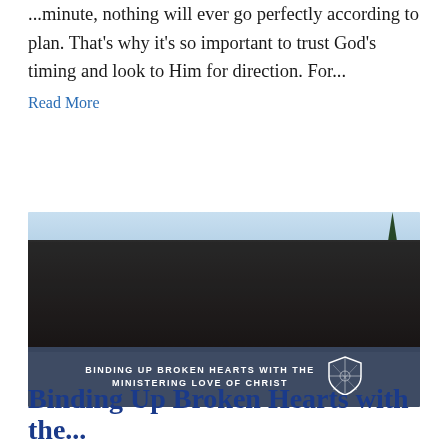...minute, nothing will ever go perfectly according to plan. That's why it's so important to trust God's timing and look to Him for direction. For...
Read More
[Figure (photo): Group photo of six young people posing together on a mountain overlook with forested hills in the background. A banner at the bottom reads 'BINDING UP BROKEN HEARTS WITH THE MINISTERING LOVE OF CHRIST' with a shield logo.]
Binding Up Broken Hearts with the...